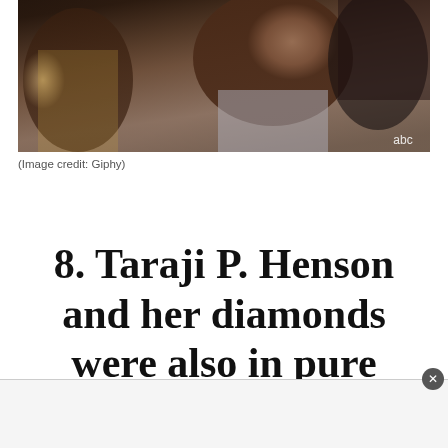[Figure (photo): A woman in a gray off-shoulder dress at what appears to be an awards ceremony (Oscars), looking surprised, with the ABC network logo in the bottom right corner of the image. Other attendees are visible in the background.]
(Image credit: Giphy)
8. Taraji P. Henson and her diamonds were also in pure shock.